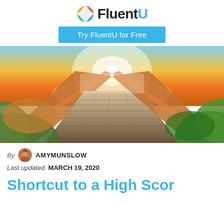[Figure (logo): FluentU logo with colorful globe icon and blue 'U' letter]
Try FluentU for Free
[Figure (photo): A wooden boardwalk path leading toward a bright sunset over the ocean, flanked by golden grasses and green foliage]
By AMYMUNSLOW
Last updated: MARCH 19, 2020
Shortcut to a High Sco...